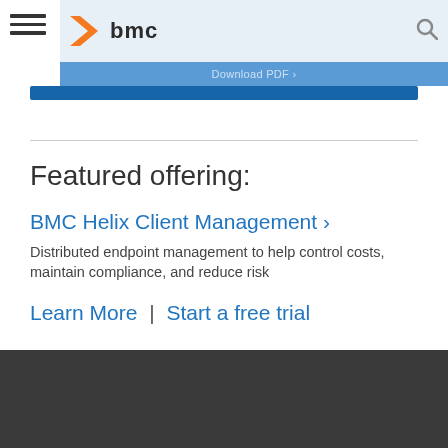bmc — Download PDF
Featured offering:
BMC Helix Client Management ›
Distributed endpoint management to help control costs, maintain compliance, and reduce risk
Learn More | Start a free trial